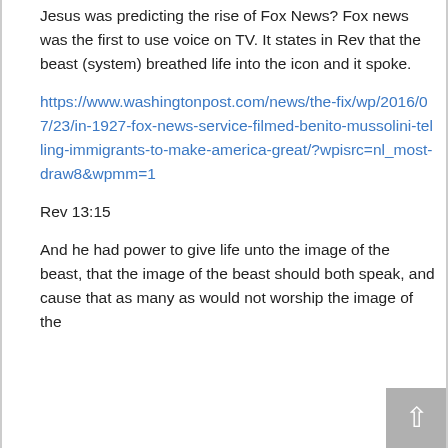Jesus was predicting the rise of Fox News? Fox news was the first to use voice on TV. It states in Rev that the beast (system) breathed life into the icon and it spoke.
https://www.washingtonpost.com/news/the-fix/wp/2016/07/23/in-1927-fox-news-service-filmed-benito-mussolini-telling-immigrants-to-make-america-great/?wpisrc=nl_most-draw8&wpmm=1
Rev 13:15
And he had power to give life unto the image of the beast, that the image of the beast should both speak, and cause that as many as would not worship the image of the